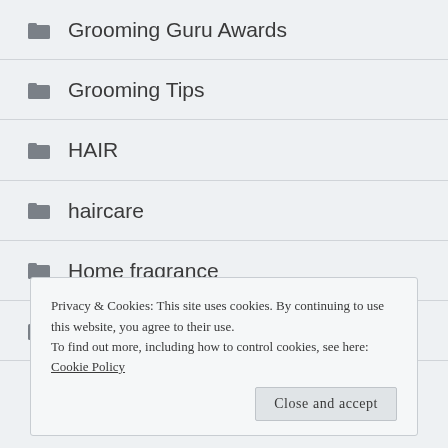Grooming Guru Awards
Grooming Tips
HAIR
haircare
Home fragrance
Inspirational Interviews
Privacy & Cookies: This site uses cookies. By continuing to use this website, you agree to their use.
To find out more, including how to control cookies, see here: Cookie Policy
Close and accept